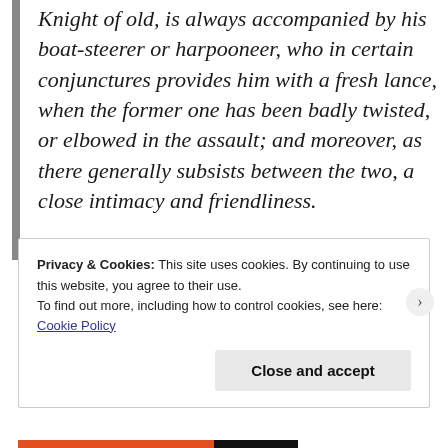Knight of old, is always accompanied by his boat-steerer or harpooneer, who in certain conjunctures provides him with a fresh lance, when the former one has been badly twisted, or elbowed in the assault; and moreover, as there generally subsists between the two, a close intimacy and friendliness.
Privacy & Cookies: This site uses cookies. By continuing to use this website, you agree to their use. To find out more, including how to control cookies, see here: Cookie Policy
Close and accept